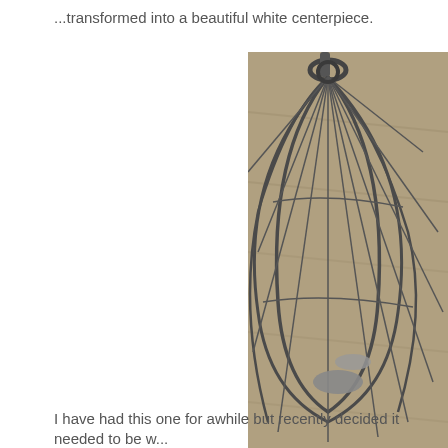...transformed into a beautiful white centerpiece.
[Figure (photo): Close-up photograph of a wire whisk or egg beater lying on a wooden surface, showing the metal wires fanning out in a circular pattern with a ring at the top and a flat paddle/blade visible in the center.]
I have had this one for awhile but recently decided it needed to be w...